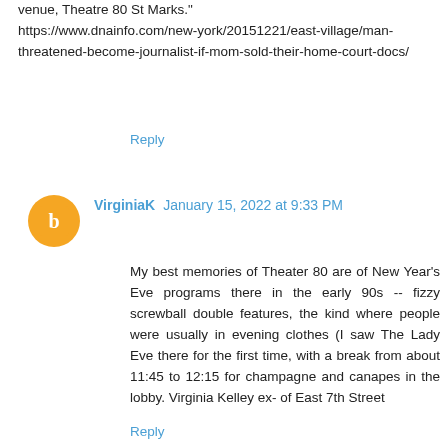venue, Theatre 80 St Marks." https://www.dnainfo.com/new-york/20151221/east-village/man-threatened-become-journalist-if-mom-sold-their-home-court-docs/
Reply
VirginiaK  January 15, 2022 at 9:33 PM
My best memories of Theater 80 are of New Year's Eve programs there in the early 90s -- fizzy screwball double features, the kind where people were usually in evening clothes (I saw The Lady Eve there for the first time, with a break from about 11:45 to 12:15 for champagne and canapes in the lobby. Virginia Kelley ex- of East 7th Street
Reply
Lorcan Otway  March 4, 2022 at 9:31 AM
You'll note that the negative comments are all anonymous. I will address one.